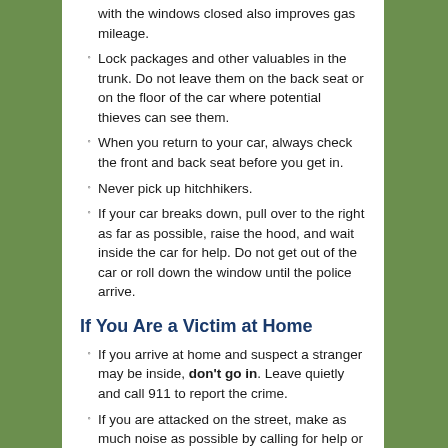with the windows closed also improves gas mileage.
Lock packages and other valuables in the trunk. Do not leave them on the back seat or on the floor of the car where potential thieves can see them.
When you return to your car, always check the front and back seat before you get in.
Never pick up hitchhikers.
If your car breaks down, pull over to the right as far as possible, raise the hood, and wait inside the car for help. Do not get out of the car or roll down the window until the police arrive.
If You Are a Victim at Home
If you arrive at home and suspect a stranger may be inside, don't go in. Leave quietly and call 911 to report the crime.
If you are attacked on the street, make as much noise as possible by calling for help or blowing a whistle. Do not pursue your attacker. Call 911 and